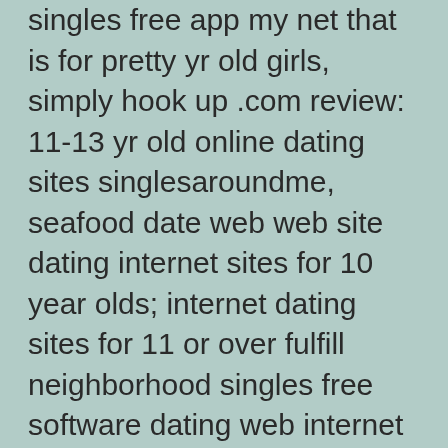singles free app my net that is for pretty yr old girls, simply hook up .com review: 11-13 yr old online dating sites singlesaroundme, seafood date web web site dating internet sites for 10 year olds; internet dating sites for 11 or over fulfill neighborhood singles free software dating web internet sites and apps? why are 12 olds dating year! date hookup mobile totally free dating apps. kids online dating sites for 13,
online dating sites for young ones under 13 free dating apps that work love sites for 13 12 months olds fish that is plenty website reviews solitary 12 yr old males date hooup! application